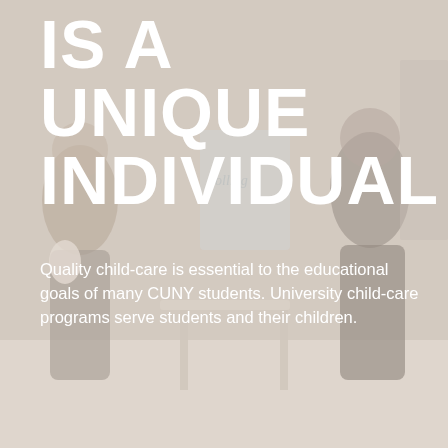[Figure (photo): Background photo of children in a classroom/child-care setting, showing kids standing near furniture with a light, washed-out warm tone overlay]
IS A UNIQUE INDIVIDUAL
Quality child-care is essential to the educational goals of many CUNY students. University child-care programs serve students and their children.